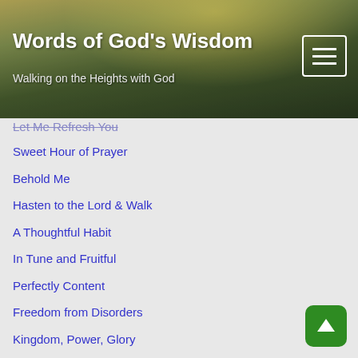Words of God's Wisdom — Walking on the Heights with God
Let Me Refresh You
Sweet Hour of Prayer
Behold Me
Hasten to the Lord & Walk
A Thoughtful Habit
In Tune and Fruitful
Perfectly Content
Freedom from Disorders
Kingdom, Power, Glory
Delight, Trust, Adventure
Ordered by the Lord
Listen, Forgive, Edify
Sit, Stand, Walk